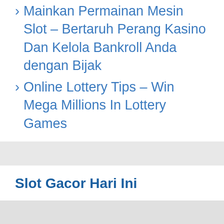Mainkan Permainan Mesin Slot – Bertaruh Perang Kasino Dan Kelola Bankroll Anda dengan Bijak
Online Lottery Tips – Win Mega Millions In Lottery Games
Slot Gacor Hari Ini
dominoqq
slot online Goslot88